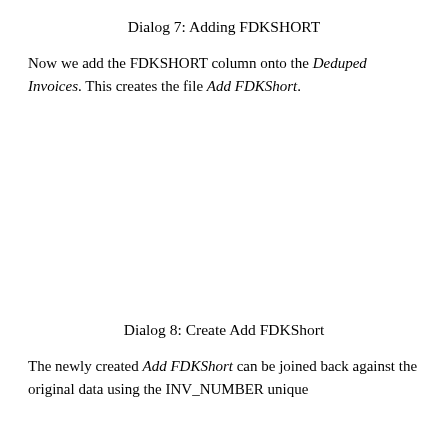Dialog 7: Adding FDKSHORT
Now we add the FDKSHORT column onto the Deduped Invoices. This creates the file Add FDKShort.
Dialog 8: Create Add FDKShort
The newly created Add FDKShort can be joined back against the original data using the INV_NUMBER unique